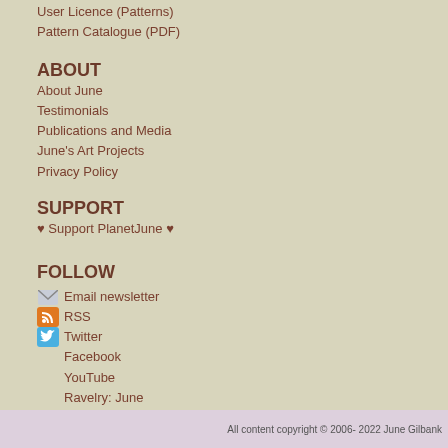User Licence (Patterns)
Pattern Catalogue (PDF)
ABOUT
About June
Testimonials
Publications and Media
June's Art Projects
Privacy Policy
SUPPORT
♥ Support PlanetJune ♥
FOLLOW
Email newsletter
RSS
Twitter
Facebook
YouTube
Ravelry: June
Ravelry: PlanetJune group
Instagram
All content copyright © 2006- 2022 June Gilbank